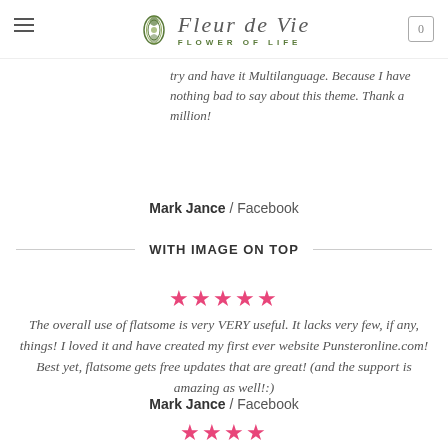Fleur de Vie — FLOWER OF LIFE
try and have it Multilanguage. Because I have nothing bad to say about this theme. Thank a million!
Mark Jance / Facebook
WITH IMAGE ON TOP
[Figure (other): Five pink star rating icons]
The overall use of flatsome is very VERY useful. It lacks very few, if any, things! I loved it and have created my first ever website Punsteronline.com! Best yet, flatsome gets free updates that are great! (and the support is amazing as well!:)
Mark Jance / Facebook
[Figure (other): Four pink star rating icons (partially visible)]